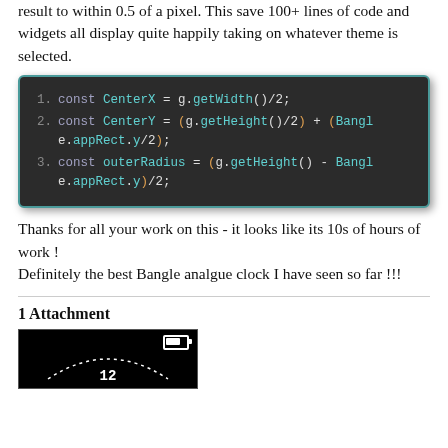result to within 0.5 of a pixel. This save 100+ lines of code and widgets all display quite happily taking on whatever theme is selected.
[Figure (screenshot): Dark code block showing JavaScript: 1. const CenterX = g.getWidth()/2; 2. const CenterY = (g.getHeight()/2) + (Bangle.appRect.y/2); 3. const outerRadius = (g.getHeight() - Bangle.appRect.y)/2;]
Thanks for all your work on this - it looks like its 10s of hours of work !
Definitely the best Bangle analgue clock I have seen so far !!!
1 Attachment
[Figure (screenshot): Thumbnail of a Bangle.js watch face showing a clock with dotted arc and number 12 at top, battery icon in top right corner, black background.]